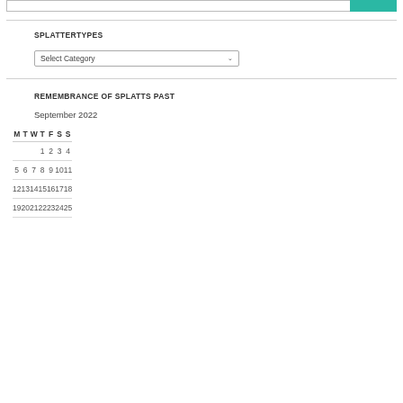SPLATTERTYPES
Select Category
REMEMBRANCE OF SPLATTS PAST
September 2022
| M | T | W | T | F | S | S |
| --- | --- | --- | --- | --- | --- | --- |
|  |  |  | 1 | 2 | 3 | 4 |
| 5 | 6 | 7 | 8 | 9 | 10 | 11 |
| 12 | 13 | 14 | 15 | 16 | 17 | 18 |
| 19 | 20 | 21 | 22 | 23 | 24 | 25 |